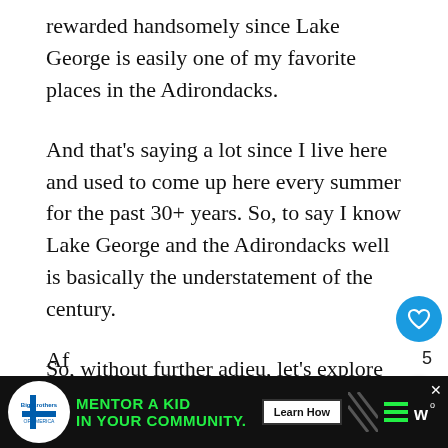rewarded handsomely since Lake George is easily one of my favorite places in the Adirondacks.
And that’s saying a lot since I live here and used to come up here every summer for the past 30+ years. So, to say I know Lake George and the Adirondacks well is basically the understatement of the century.
So, without further adieu, let’s explore this tiny town that is located at the very tip of the long Lake George.
[Figure (screenshot): Circular blue like/heart button with heart icon, count of 5, and a circular share button below it on the right side of the page]
[Figure (screenshot): WHAT'S NEXT widget showing a lake thumbnail image and text '11 Best Things to do...']
[Figure (screenshot): Ad banner: Big Brothers Big Sisters logo, green text 'MENTOR A KID IN YOUR COMMUNITY.' with Learn How button on dark background]
Af